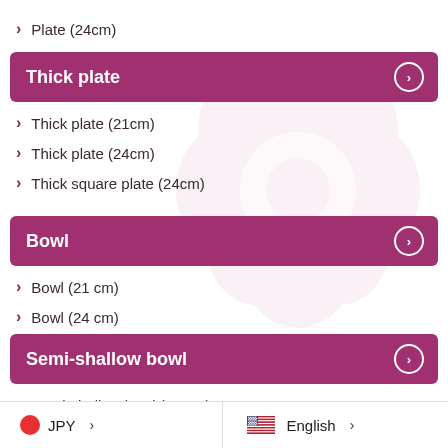Plate (24cm)
Thick plate
Thick plate (21cm)
Thick plate (24cm)
Thick square plate (24cm)
Bowl
Bowl (21 cm)
Bowl (24 cm)
Semi-shallow bowl
Semi-shallow bowl (21 cm)
JPY > | English >